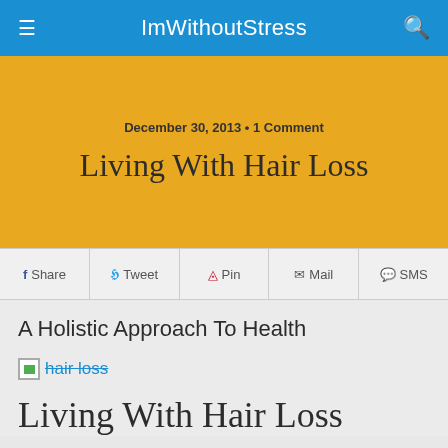ImWithoutStress
December 30, 2013 • 1 Comment
Living With Hair Loss
Share  Tweet  Pin  Mail  SMS
A Holistic Approach To Health
[Figure (illustration): Broken image placeholder with alt text 'hair loss' in blue strikethrough text]
Living With Hair Loss